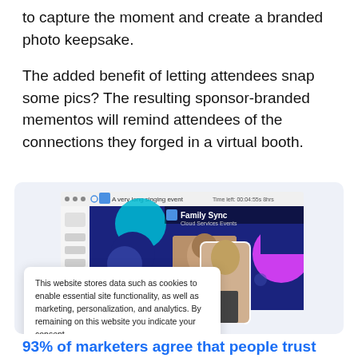to capture the moment and create a branded photo keepsake.
The added benefit of letting attendees snap some pics? The resulting sponsor-branded mementos will remind attendees of the connections they forged in a virtual booth.
[Figure (screenshot): Screenshot of a virtual event platform showing a Family Sync branded virtual booth with colorful circles on a dark blue background, with a person's video feed visible. A cookie consent popup overlays the bottom-left of the screenshot.]
93% of marketers agree that people trust user-